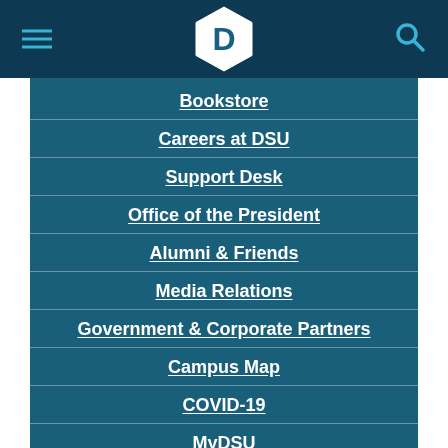DSU logo, hamburger menu, search icon
Bookstore
Careers at DSU
Support Desk
Office of the President
Alumni & Friends
Media Relations
Government & Corporate Partners
Campus Map
COVID-19
MyDSU